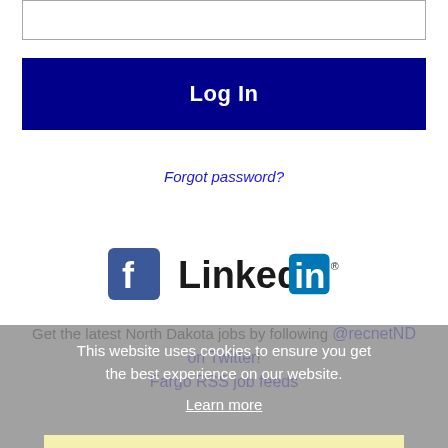[Figure (screenshot): Password input text box at top of login form]
[Figure (screenshot): Dark blue Log In button]
Forgot password?
[Figure (logo): Facebook logo icon and LinkedIn logo side by side]
Get the latest North Dakota jobs by following @recnetND on Twitter!
Fargo RSS job feeds
This website uses cookies to ensure you get the best experience on our website.
Learn more
Got it!